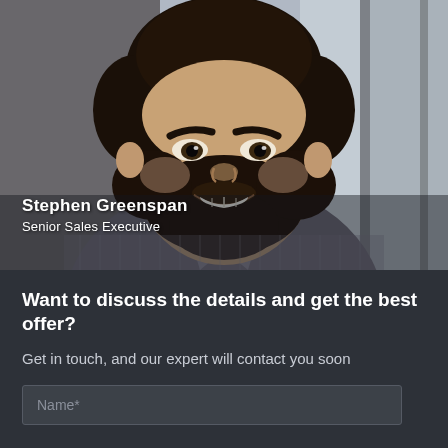[Figure (photo): Headshot of a bearded man smiling, wearing a striped button-up shirt, in an office setting with blurred background.]
Stephen Greenspan
Senior Sales Executive
Want to discuss the details and get the best offer?
Get in touch, and our expert will contact you soon